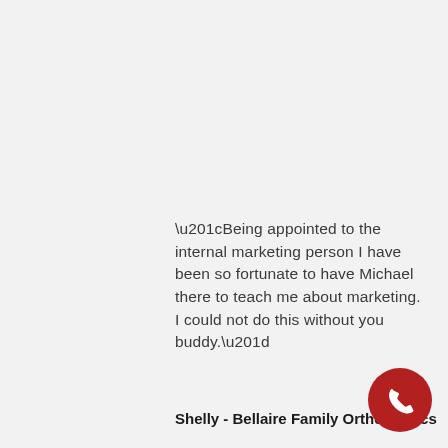“Being appointed to the internal marketing person I have been so fortunate to have Michael there to teach me about marketing. I could not do this without you buddy.”
Shelly - Bellaire Family Orthodontics